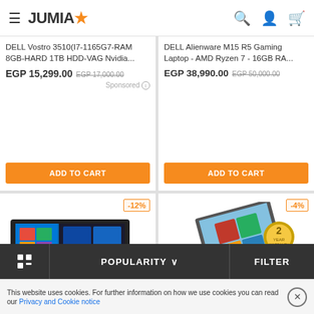JUMIA
DELL Vostro 3510(I7-1165G7-RAM 8GB-HARD 1TB HDD-VAG Nvidia...
EGP 15,299.00  EGP 17,000.00
Sponsored
ADD TO CART
DELL Alienware M15 R5 Gaming Laptop - AMD Ryzen 7 - 16GB RA...
EGP 38,990.00  EGP 50,000.00
ADD TO CART
[Figure (screenshot): Laptop with Windows 10 screen showing tiles, -12% discount badge]
[Figure (photo): ASUS VivoBook convertible laptop, award badge, -4% discount badge]
POPULARITY  ∨   FILTER
This website uses cookies. For further information on how we use cookies you can read our Privacy and Cookie notice